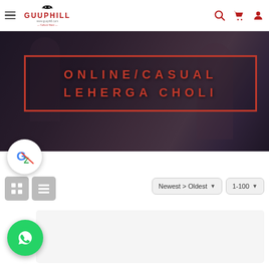[Figure (screenshot): Website header with hamburger menu, GUUPHILL logo (online culture store), search icon, cart icon, and user icon in red]
[Figure (photo): Dark banner image with blurred people in background, containing a red-bordered box with red text reading ONLINE/CASUAL LEHERGA CHOLI in uppercase spaced letters]
ONLINE/CASUAL LEHERGA CHOLI
[Figure (screenshot): Toolbar with Google Translate floating button (G icon), grid view toggle button, list view toggle button, Newest > Oldest dropdown selector, and 1-100 items per page dropdown selector]
[Figure (logo): Green WhatsApp floating button at bottom left]
[Figure (other): Light gray product listing placeholder area at bottom right]